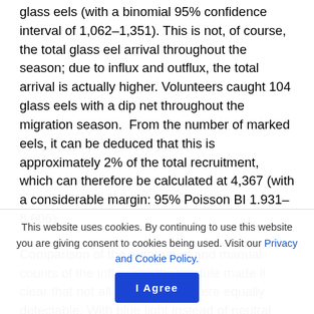glass eels (with a binomial 95% confidence interval of 1,062–1,351). This is not, of course, the total glass eel arrival throughout the season; due to influx and outflux, the total arrival is actually higher. Volunteers caught 104 glass eels with a dip net throughout the migration season.  From the number of marked eels, it can be deduced that this is approximately 2% of the total recruitment, which can therefore be calculated at 4,367 (with a considerable margin: 95% Poisson BI 1.931–8.606).
Comparison of the automated and manual counts of the influx into the module made it clear that not all colour codes were equally detectable. With blue light instead of neutral light, this improved from 37% to
This website uses cookies. By continuing to use this website you are giving consent to cookies being used. Visit our Privacy and Cookie Policy.